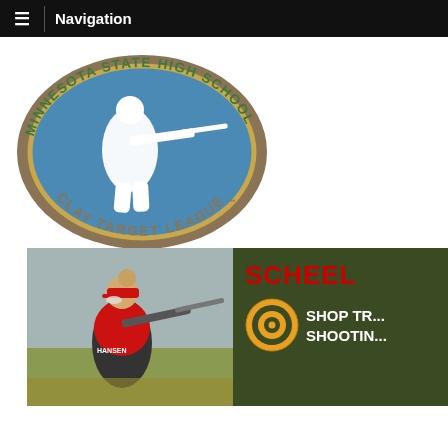☰ Navigation
[Figure (logo): Minnesota State High School Clay Target League logo — oval shape with blue background, white silhouette of a shooter, gold/brown border, green text reading MINNESOTA STATE HIGH SCHOOL around the top arc and CLAY TARGET LEAGUE™ along the bottom]
[Figure (photo): Female shooter in red and black uniform aiming a shotgun at a clay target range, outdoor setting]
[Figure (other): Scheels advertisement banner on dark olive/green background with red SCHEELS text, target bullseye icon, and white text SHOP TR... SHOOTIN...]